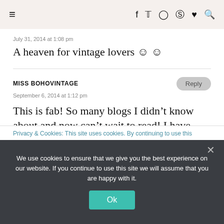☰  f  t  ◻  ⊕  ♥  Q
July 31, 2014 at 1:08 pm
A heaven for vintage lovers 🙂 🙂
MISS BOHOVINTAGE
September 6, 2014 at 1:12 pm
This is fab! So many blogs I didn't know about and now can't wait to read! I have literally just started a vintage blog and it's great to see so many others 😁
Privacy & Cookies: This site uses cookies. By continuing to use this
We use cookies to ensure that we give you the best experience on our website. If you continue to use this site we will assume that you are happy with it.